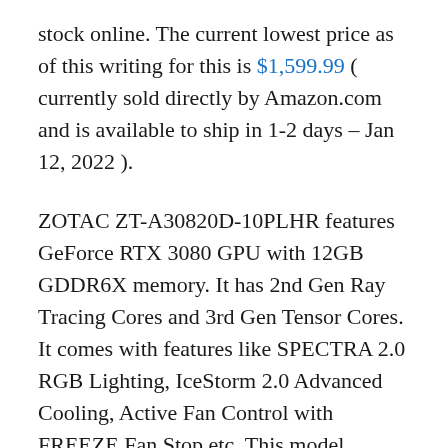stock online. The current lowest price as of this writing for this is $1,599.99 ( currently sold directly by Amazon.com and is available to ship in 1-2 days – Jan 12, 2022 ).
ZOTAC ZT-A30820D-10PLHR features GeForce RTX 3080 GPU with 12GB GDDR6X memory. It has 2nd Gen Ray Tracing Cores and 3rd Gen Tensor Cores. It comes with features like SPECTRA 2.0 RGB Lighting, IceStorm 2.0 Advanced Cooling, Active Fan Control with FREEZE Fan Stop etc. This model supports 3x DisplayPort 1.4a (up to 7680×4320@60Hz) and HDMI 2.1 (up to 7680×4320@60Hz).